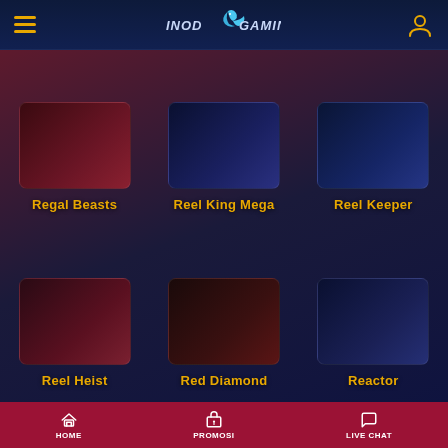INOD GAMING — header with hamburger menu, logo, and user icon
Regal Beasts
Reel King Mega
Reel Keeper
Reel Heist
Red Diamond
Reactor
HOME | PROMOSI | LIVE CHAT